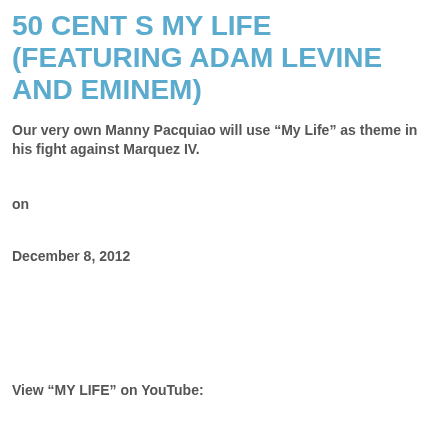50 CENT S MY LIFE (FEATURING ADAM LEVINE AND EMINEM)
Our very own Manny Pacquiao will use “My Life” as theme in his fight against Marquez IV.
on
December 8, 2012
View “MY LIFE” on YouTube: